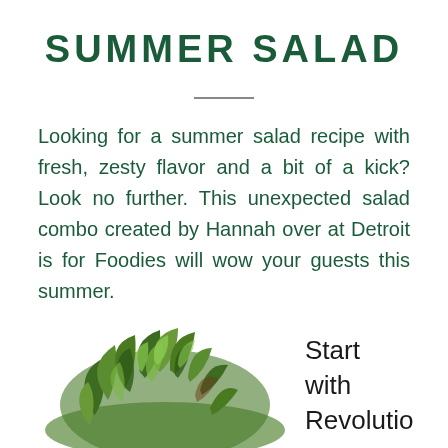SUMMER SALAD
Looking for a summer salad recipe with fresh, zesty flavor and a bit of a kick? Look no further. This unexpected salad combo created by Hannah over at Detroit is for Foodies will wow your guests this summer.
[Figure (photo): A mound of fresh mixed salad greens including various leafy herbs and lettuce on a white background]
Start with Revolutio